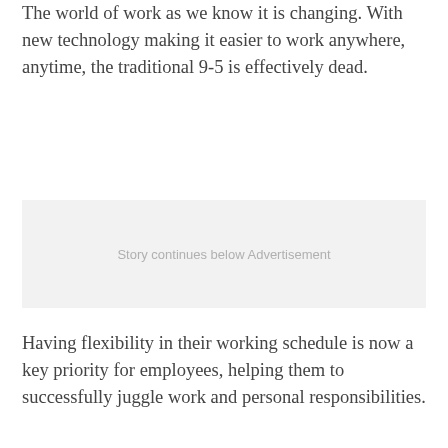The world of work as we know it is changing. With new technology making it easier to work anywhere, anytime, the traditional 9-5 is effectively dead.
[Figure (other): Advertisement placeholder box with text 'Story continues below Advertisement']
Having flexibility in their working schedule is now a key priority for employees, helping them to successfully juggle work and personal responsibilities.
In fact, more than 80% of 3,500 employees Sage People polled globally placed importance and value on flexible and remote working.
Valuing a work life balance has become increasingly